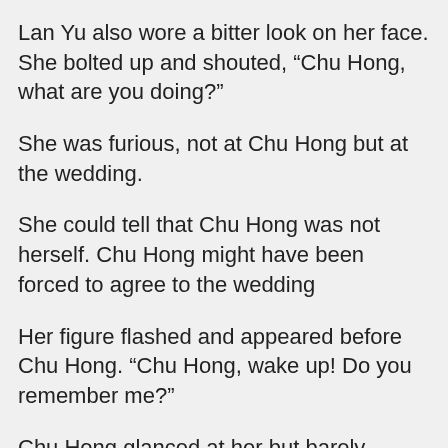Lan Yu also wore a bitter look on her face. She bolted up and shouted, “Chu Hong, what are you doing?”
She was furious, not at Chu Hong but at the wedding.
She could tell that Chu Hong was not herself. Chu Hong might have been forced to agree to the wedding
Her figure flashed and appeared before Chu Hong. “Chu Hong, wake up! Do you remember me?”
Chu Hong glanced at her but barely reacted. There was a hint of struggle in those dull eyes of hers.